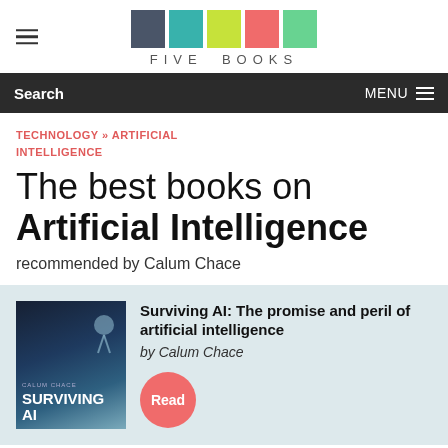FIVE BOOKS
Search | MENU
TECHNOLOGY » ARTIFICIAL INTELLIGENCE
The best books on Artificial Intelligence recommended by Calum Chace
Surviving AI: The promise and peril of artificial intelligence by Calum Chace Read